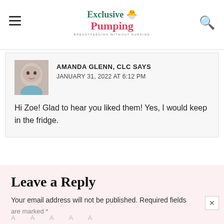Exclusive Pumping — BREASTFEEDING WITHOUT NURSING
AMANDA GLENN, CLC SAYS
JANUARY 31, 2022 AT 6:12 PM

Hi Zoe! Glad to hear you liked them! Yes, I would keep in the fridge.
Leave a Reply
Your email address will not be published. Required fields are marked *